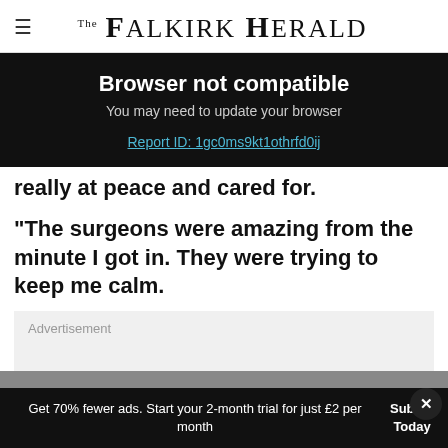The Falkirk Herald
Browser not compatible
You may need to update your browser
Report ID: 1gc0ms9kt1othrfd0ij
really at peace and cared for.
“The surgeons were amazing from the minute I got in. They were trying to keep me calm.
Advertisement
Get 70% fewer ads. Start your 2-month trial for just £2 per month
Subscribe Today